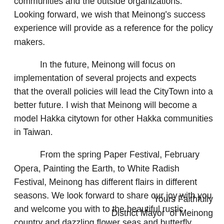resources and material support from the local communities and the outside organizations. Looking forward, we wish that Meinong's success experience will provide as a reference for the policy makers.
In the future, Meinong will focus on implementation of several projects and expects that the overall policies will lead the CityTown into a better future. I wish that Meinong will become a model Hakka citytown for other Hakka communities in Taiwan.
From the spring Paper Festival, February Opera, Painting the Earth, to White Radish Festival, Meinong has different flairs in different seasons. We look forward to share our joy with you and welcome you with to the beautiful rustic country and dazzling flower seas and butterfly caves with open arms and smiles. Welcome to Meinong.
Yours Faithfully
District Mayor  of Meinong